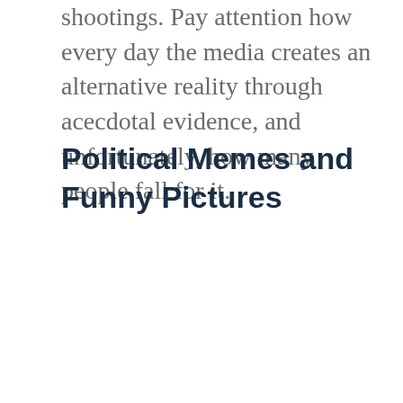shootings. Pay attention how every day the media creates an alternative reality through acecdotal evidence, and unfortunately, how many people fall for it.
Political Memes and Funny Pictures